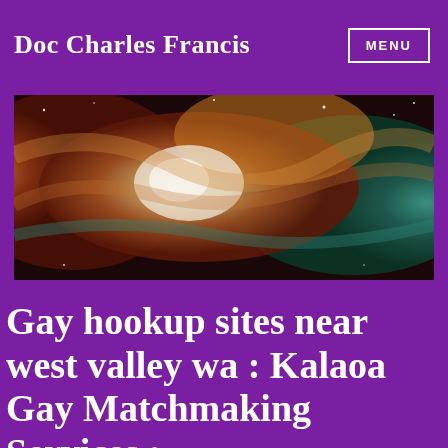Doc Charles Francis
[Figure (photo): Wide banner photograph of a colorful nebula in space, showing swirling clouds of orange, red, teal, and white gas and dust against a dark starfield.]
Gay hookup sites near west valley wa : Kalaoa Gay Matchmaking Services : How internet revolution d